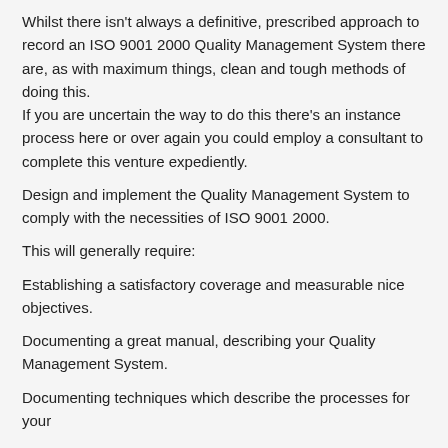Whilst there isn't always a definitive, prescribed approach to record an ISO 9001 2000 Quality Management System there are, as with maximum things, clean and tough methods of doing this. If you are uncertain the way to do this there's an instance process here or over again you could employ a consultant to complete this venture expediently.
Design and implement the Quality Management System to comply with the necessities of ISO 9001 2000.
This will generally require:
Establishing a satisfactory coverage and measurable nice objectives.
Documenting a great manual, describing your Quality Management System.
Documenting techniques which describe the processes for your